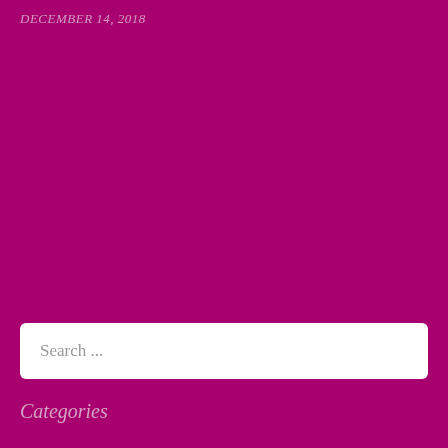DECEMBER 14, 2018
Search ...
SEARCH
Categories